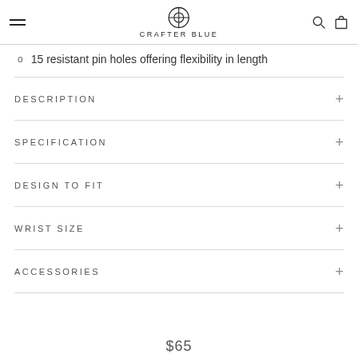CRAFTER BLUE
15 resistant pin holes offering flexibility in length
DESCRIPTION
SPECIFICATION
DESIGN TO FIT
WRIST SIZE
ACCESSORIES
$65